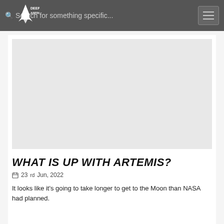Search for something specific...
[Figure (logo): Deep Astronomy logo — rocket with text 'DEEP ASTRONOMY']
[Figure (photo): Large image placeholder for Artemis-related photograph]
WHAT IS UP WITH ARTEMIS?
23rd Jun, 2022
It looks like it's going to take longer to get to the Moon than NASA had planned.